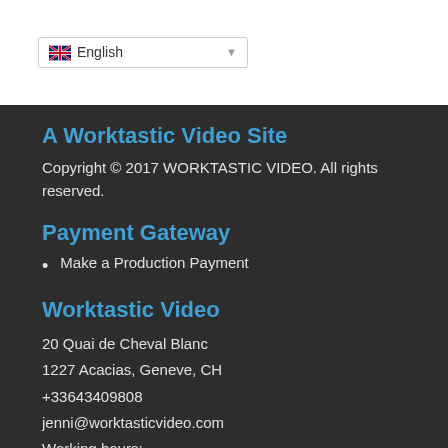English
A Worktastic Video Site
Copyright © 2017 WORKTASTIC VIDEO. All rights reserved.
Payment Gateway
Make a Production Payment
Worktastic Video
20 Quai de Cheval Blanc
1227 Acacias, Geneve, CH
+33643409808
jenni@worktasticvideo.com
Working hours: